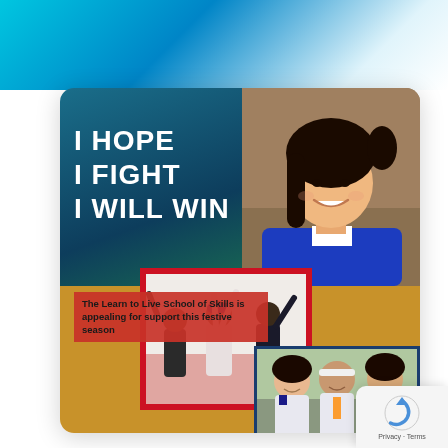[Figure (infographic): Top gradient banner with teal/blue gradient, decorative header element]
I HOPE
I FIGHT
I WILL WIN
The Learn to Live School of Skills is appealing for support this festive season
[Figure (photo): Photo of smiling young girl in blue school blazer seated at classroom desk]
[Figure (photo): Photo of students with arms raised in celebration, red frame border]
[Figure (photo): Photo of three young women in school uniforms smiling together]
[Figure (infographic): Christmas ornament decorations row at bottom of card]
Privacy · Terms